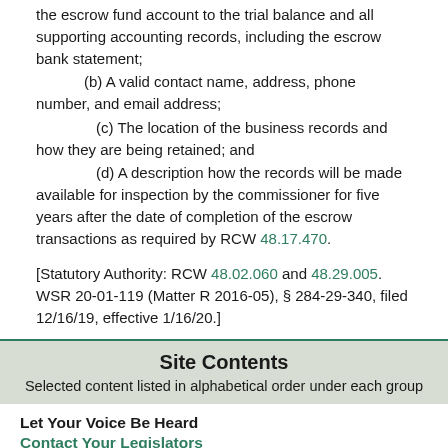the escrow fund account to the trial balance and all supporting accounting records, including the escrow bank statement;
(b) A valid contact name, address, phone number, and email address;
(c) The location of the business records and how they are being retained; and
(d) A description how the records will be made available for inspection by the commissioner for five years after the date of completion of the escrow transactions as required by RCW 48.17.470.
[Statutory Authority: RCW 48.02.060 and 48.29.005. WSR 20-01-119 (Matter R 2016-05), § 284-29-340, filed 12/16/19, effective 1/16/20.]
Site Contents
Selected content listed in alphabetical order under each group
Let Your Voice Be Heard
Contact Your Legislators